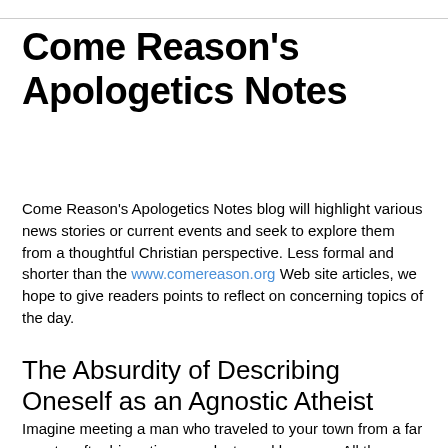Come Reason's Apologetics Notes
Come Reason's Apologetics Notes blog will highlight various news stories or current events and seek to explore them from a thoughtful Christian perspective. Less formal and shorter than the www.comereason.org Web site articles, we hope to give readers points to reflect on concerning topics of the day.
Monday, December 08, 2014
The Absurdity of Describing Oneself as an Agnostic Atheist
Imagine meeting a man who traveled to your town from a far country after his nation was destroyed by a war. All the records of civil ceremonies had been wiped out. In talking